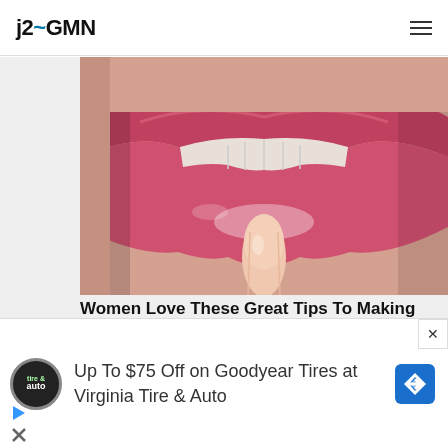j2GMN
[Figure (photo): Close-up photo of human lips with gloss, slightly parted showing teeth, with a finger touching the lower lip]
Women Love These Great Tips To Making Your Teeth Look Whiter
Herbeauty
Video:  Early  Detection
[Figure (infographic): Advertisement banner: Up To $75 Off on Goodyear Tires at Virginia Tire & Auto, with Tire & Auto logo circle and blue diamond navigation icon]